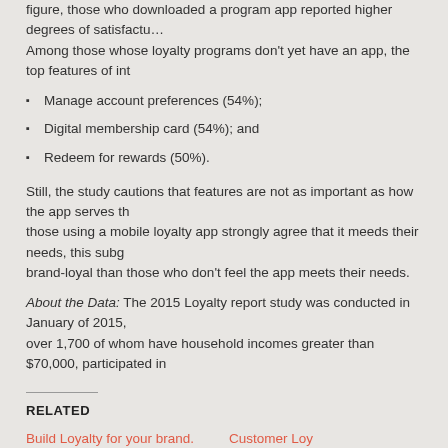figure, those who downloaded a program app reported higher degrees of satisfaction. Among those whose loyalty programs don't yet have an app, the top features of int
Manage account preferences (54%);
Digital membership card (54%); and
Redeem for rewards (50%).
Still, the study cautions that features are not as important as how the app serves th those using a mobile loyalty app strongly agree that it meeds their needs, this subg brand-loyal than those who don't feel the app meets their needs.
About the Data: The 2015 Loyalty report study was conducted in January of 2015. over 1,700 of whom have household incomes greater than $70,000, participated in
RELATED
Build Loyalty for your brand.
11/13/2013
In "Business Articles"
Customer Loy Marketing Stra 02/26/2014
In "Business A
Customer loyalty is job number 1 for the marketing department.